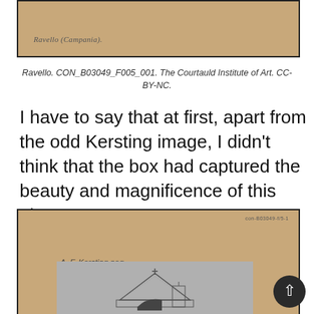[Figure (photo): Archival photo card with tan/kraft background showing handwritten text 'Ravello (Campania)' in cursive at the bottom left]
Ravello. CON_B03049_F005_001. The Courtauld Institute of Art. CC-BY-NC.
I have to say that at first, apart from the odd Kersting image, I didn't think that the box had captured the beauty and magnificence of this place.
[Figure (photo): Archival photo card with tan/kraft background. Top right shows reference number 'con-B03049-f/5-1'. Label reads 'A. F. Kersting neg.' Below is a black and white photograph showing a church building with a pointed gable/pediment roof and a cross on top.]